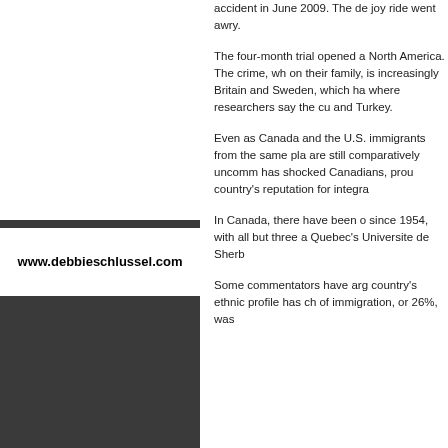accident in June 2009. The de joy ride went awry.
[Figure (screenshot): White rectangular image area on left panel]
www.debbieschlussel.com
The four-month trial opened a North America. The crime, wh on their family, is increasingly Britain and Sweden, which ha where researchers say the cu and Turkey.
Even as Canada and the U.S. immigrants from the same pla are still comparatively uncomm has shocked Canadians, prou country's reputation for integra
In Canada, there have been o since 1954, with all but three a Quebec's Universite de Sherb
Some commentators have arg country's ethnic profile has ch of immigration, or 26%, was